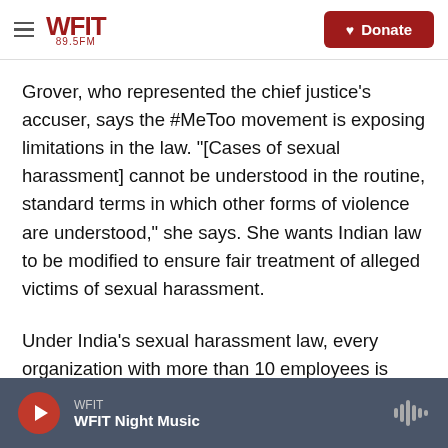WFIT 89.5FM — Navigation bar with Donate button
Grover, who represented the chief justice's accuser, says the #MeToo movement is exposing limitations in the law. "[Cases of sexual harassment] cannot be understood in the routine, standard terms in which other forms of violence are understood," she says. She wants Indian law to be modified to ensure fair treatment of alleged victims of sexual harassment.
Under India's sexual harassment law, every organization with more than 10 employees is required to have an internal complaints committee for sexual harassment cases. But the committee is
WFIT — WFIT Night Music (audio player bar)